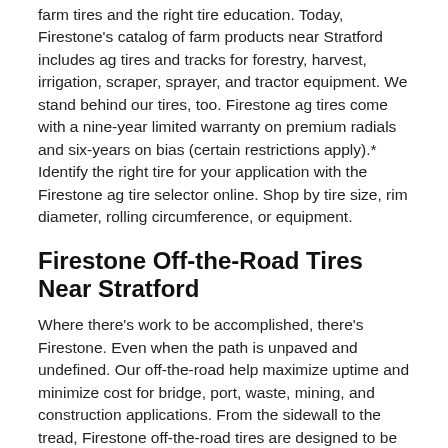farm tires and the right tire education. Today, Firestone's catalog of farm products near Stratford includes ag tires and tracks for forestry, harvest, irrigation, scraper, sprayer, and tractor equipment. We stand behind our tires, too. Firestone ag tires come with a nine-year limited warranty on premium radials and six-years on bias (certain restrictions apply).* Identify the right tire for your application with the Firestone ag tire selector online. Shop by tire size, rim diameter, rolling circumference, or equipment.
Firestone Off-the-Road Tires Near Stratford
Where there's work to be accomplished, there's Firestone. Even when the path is unpaved and undefined. Our off-the-road help maximize uptime and minimize cost for bridge, port, waste, mining, and construction applications. From the sidewall to the tread, Firestone off-the-road tires are designed to be durable and versatile. Take VersaBuilt tires, for example. VersaBuilt heavy-equipment tires keep you working in the harshest off-the-road conditions. SideArmor™ sidewalls and steel casings help safeguard against punctures and cuts while non-directional tread delivers a boost of traction. In the end, you get more life from the